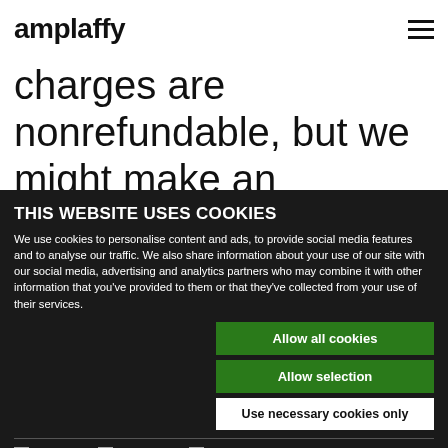amplaffy
memberships, please send an e-mail to elisabet@amplaffy.io. Generally, all charges are nonrefundable, but we might make an exception.
THIS WEBSITE USES COOKIES
We use cookies to personalise content and ads, to provide social media features and to analyse our traffic. We also share information about your use of our site with our social media, advertising and analytics partners who may combine it with other information that you've provided to them or that they've collected from your use of their services.
Allow all cookies
Allow selection
Use necessary cookies only
Necessary   Preferences   Statistics   Marketing   Show details